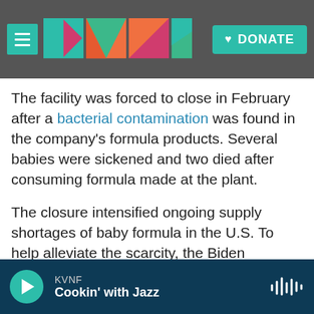[Figure (screenshot): KVNF radio website header with hamburger menu icon, KVNF colorful logo, and teal DONATE button on a dark background]
The facility was forced to close in February after a bacterial contamination was found in the company's formula products. Several babies were sickened and two died after consuming formula made at the plant.
The closure intensified ongoing supply shortages of baby formula in the U.S. To help alleviate the scarcity, the Biden administration has been importing formula from abroad in recent weeks.
Abbott's specialty formula EleCare will be available to consumers beginning on or about June 20, the
KVNF  Cookin' with Jazz